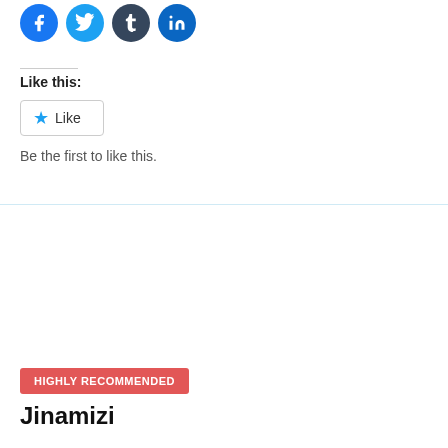[Figure (other): Social media share icons: Facebook (blue circle), Twitter (light blue circle), Tumblr (dark navy circle), LinkedIn (blue circle)]
Like this:
[Figure (other): Like button with blue star icon and text 'Like']
Be the first to like this.
HIGHLY RECOMMENDED
Jinamizi